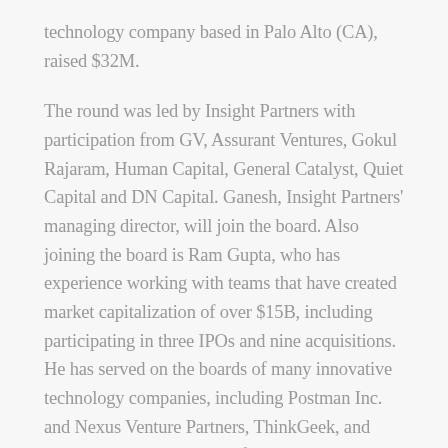technology company based in Palo Alto (CA), raised $32M.
The round was led by Insight Partners with participation from GV, Assurant Ventures, Gokul Rajaram, Human Capital, General Catalyst, Quiet Capital and DN Capital. Ganesh, Insight Partners' managing director, will join the board. Also joining the board is Ram Gupta, who has experience working with teams that have created market capitalization of over $15B, including participating in three IPOs and nine acquisitions. He has served on the boards of many innovative technology companies, including Postman Inc. and Nexus Venture Partners, ThinkGeek, and Neeyamo. He also worked for major global brands like IBM and WebMD.
The company intends to use the funds to accelerate